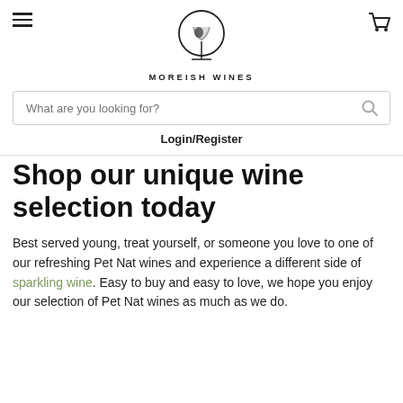MOREISH WINES
Login/Register
Shop our unique wine selection today
Best served young, treat yourself, or someone you love to one of our refreshing Pet Nat wines and experience a different side of sparkling wine. Easy to buy and easy to love, we hope you enjoy our selection of Pet Nat wines as much as we do.